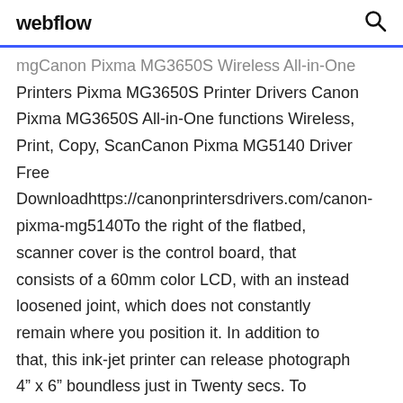webflow
mgCanon Pixma MG3650S Wireless All-in-One Printers Pixma MG3650S Printer Drivers Canon Pixma MG3650S All-in-One functions Wireless, Print, Copy, ScanCanon Pixma MG5140 Driver Free Downloadhttps://canonprintersdrivers.com/canon-pixma-mg5140To the right of the flatbed, scanner cover is the control board, that consists of a 60mm color LCD, with an instead loosened joint, which does not constantly remain where you position it. In addition to that, this ink-jet printer can release photograph 4" x 6" boundless just in Twenty secs. To replicate the documents straight into a manager, our company only must have 14